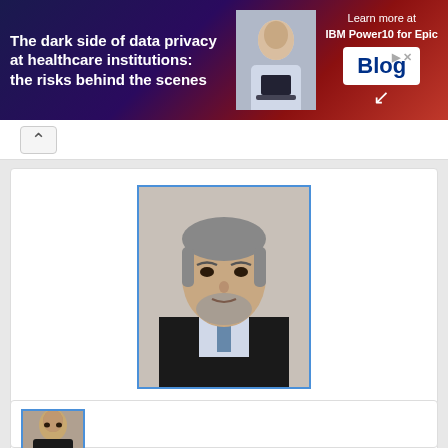[Figure (infographic): Dark blue/red gradient advertisement banner reading 'The dark side of data privacy at healthcare institutions: the risks behind the scenes' with a person holding a laptop and IBM Power10 Blog promotion on the right]
[Figure (photo): Professional headshot photo of Prof. Dr. Mohmmad Mohibul Aziz, a middle-aged man in a dark suit with salt-and-pepper beard]
Prof. Dr. Mohmmad Mohibul Aziz
MBBS, FCPS (Surgery), FRCS (Edinburgh), FRCS (Glasgow)
General, Laparoscopic & Colorectal Surgeon
Ibn Sina Medical College & Hospital
See Details
[Figure (photo): Partial view of another doctor's headshot photo at the bottom of the page]